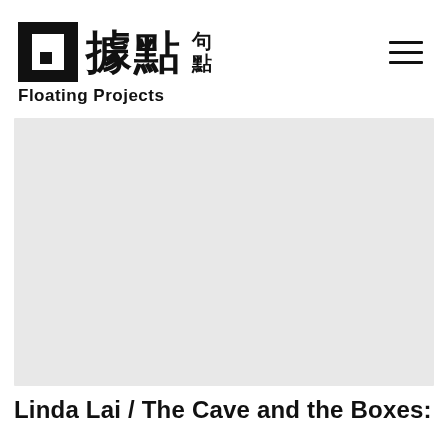據點句點 Floating Projects
[Figure (photo): Large light grey rectangular image placeholder, hero image area for article]
Linda Lai / The Cave and the Boxes: